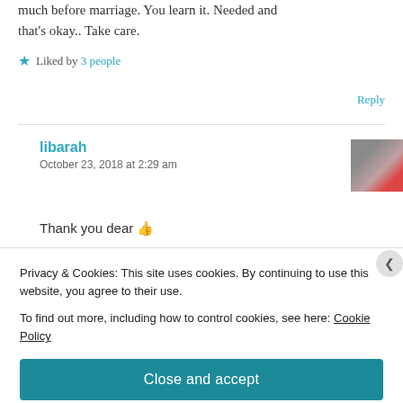much before marriage. You learn it. Needed and that's okay.. Take care.
★ Liked by 3 people
Reply
libarah
October 23, 2018 at 2:29 am
Thank you dear 👍
Privacy & Cookies: This site uses cookies. By continuing to use this website, you agree to their use.
To find out more, including how to control cookies, see here: Cookie Policy
Close and accept